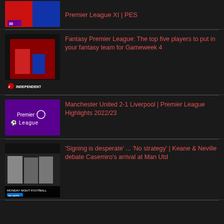[Figure (screenshot): Thumbnail of Premier League XI / PES content with players in red jerseys]
Premier League XI | PES
[Figure (screenshot): Independent article thumbnail showing a footballer celebrating on pitch]
Fantasy Premier League: The top five players to put in your fantasy team for Gameweek 4
[Figure (screenshot): Premier League logo on purple background]
Manchester United 2-1 Liverpool | Premier League Highlights 2022/23
[Figure (screenshot): Sky Sports Monday Night Football thumbnail with Casemiro and pundits Roy Keane and Gary Neville]
'Signing is desperate' ... 'No strategy' | Keane & Neville debate Casemiro's arrival at Man Utd